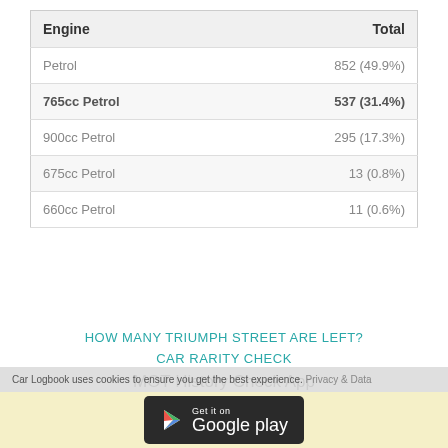| Engine | Total |
| --- | --- |
| Petrol | 852 (49.9%) |
| 765cc Petrol | 537 (31.4%) |
| 900cc Petrol | 295 (17.3%) |
| 675cc Petrol | 13 (0.8%) |
| 660cc Petrol | 11 (0.6%) |
HOW MANY TRIUMPH STREET ARE LEFT?
CAR RARITY CHECK
MOT History Check App
Check the MOT History of any car on the go with these MOT History Apps.
Car Logbook uses cookies to ensure you get the best experience. Privacy & Data
[Figure (screenshot): Get it on Google Play badge]